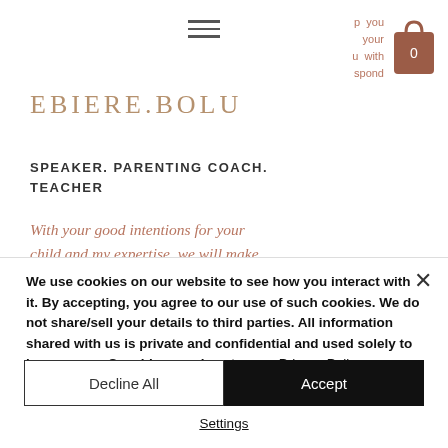[Figure (screenshot): Website header with hamburger menu icon, EBIERE.BOLU logo, shopping cart icon with badge '0', and partially visible dropdown text 'p you your u with spond' in mauve/rose color]
SPEAKER. PARENTING COACH. TEACHER
With your good intentions for your child and my expertise, we will make
We use cookies on our website to see how you interact with it. By accepting, you agree to our use of such cookies. We do not share/sell your details to third parties. All information shared with us is private and confidential and used solely to improve our Coaching services to you. Privacy Policy
Decline All
Accept
Settings